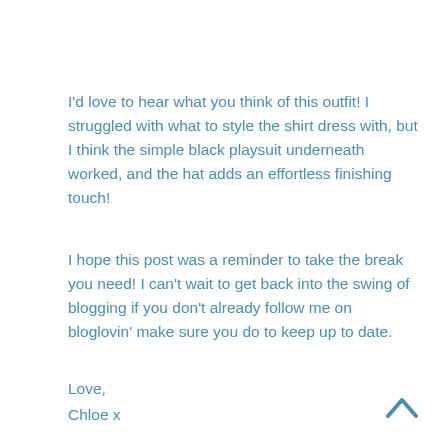I'd love to hear what you think of this outfit! I struggled with what to style the shirt dress with, but I think the simple black playsuit underneath worked, and the hat adds an effortless finishing touch!
I hope this post was a reminder to take the break you need! I can't wait to get back into the swing of blogging if you don't already follow me on bloglovin' make sure you do to keep up to date.
Love,
Chloe x